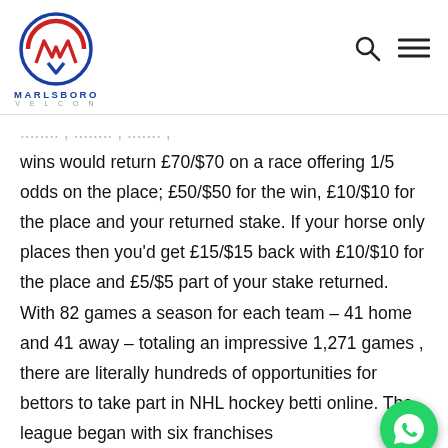[Figure (logo): Marlsboro Velcon logo with circular red/blue emblem and text]
wins would return £70/$70 on a race offering 1/5 odds on the place; £50/$50 for the win, £10/$10 for the place and your returned stake. If your horse only places then you'd get £15/$15 back with £10/$10 for the place and £5/$5 part of your stake returned. With 82 games a season for each team – 41 home and 41 away – totaling an impressive 1,271 games , there are literally hundreds of opportunities for bettors to take part in NHL hockey betti online. The league began with six franchises